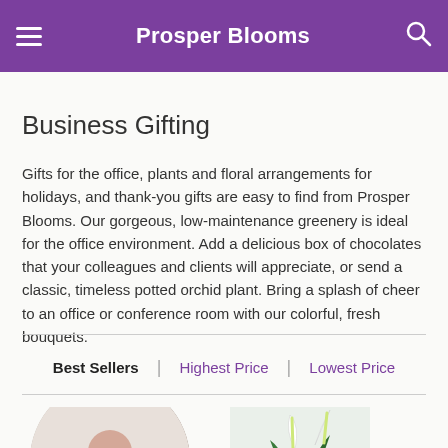Prosper Blooms
Business Gifting
Gifts for the office, plants and floral arrangements for holidays, and thank-you gifts are easy to find from Prosper Blooms. Our gorgeous, low-maintenance greenery is ideal for the office environment. Add a delicious box of chocolates that your colleagues and clients will appreciate, or send a classic, timeless potted orchid plant. Bring a splash of cheer to an office or conference room with our colorful, fresh bouquets.
Best Sellers | Highest Price | Lowest Price
[Figure (photo): Circular product photo showing a person in a black suit holding a pink rose]
[Figure (photo): Photo of a white peace lily plant with green leaves]